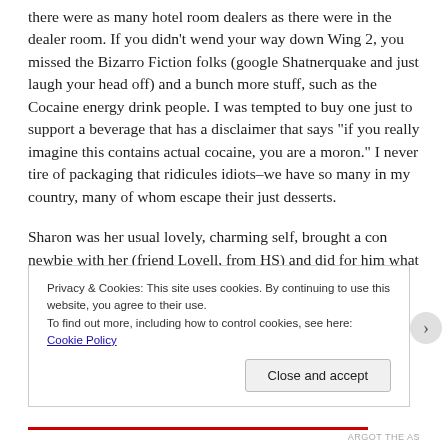Dealers didn't charge too much room or charged too much there were as many hotel room dealers as there were in the dealer room. If you didn't wend your way down Wing 2, you missed the Bizarro Fiction folks (google Shatnerquake and just laugh your head off) and a bunch more stuff, such as the Cocaine energy drink people. I was tempted to buy one just to support a beverage that has a disclaimer that says "if you really imagine this contains actual cocaine, you are a moron." I never tire of packaging that ridicules idiots–we have so many in my country, many of whom escape their just desserts.
Sharon was her usual lovely, charming self, brought a con newbie with her (friend Lovell, from HS) and did for him what she once did for me (general askari/native guide function). I
Privacy & Cookies: This site uses cookies. By continuing to use this website, you agree to their use.
To find out more, including how to control cookies, see here: Cookie Policy